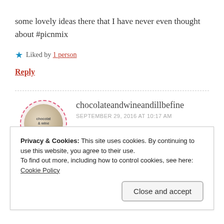some lovely ideas there that I have never even thought about #picnmix
★ Liked by 1 person
Reply
chocolateandwineandillbefine
SEPTEMBER 29, 2016 AT 10:17 AM
Thank you!! It is amazing what you can do if you are
Privacy & Cookies: This site uses cookies. By continuing to use this website, you agree to their use.
To find out more, including how to control cookies, see here: Cookie Policy
Close and accept
Reply